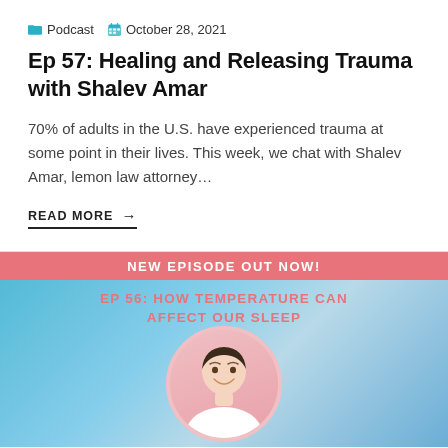Podcast  October 28, 2021
Ep 57: Healing and Releasing Trauma with Shalev Amar
70% of adults in the U.S. have experienced trauma at some point in their lives. This week, we chat with Shalev Amar, lemon law attorney…
READ MORE →
[Figure (photo): Podcast episode card for Ep 56: How Temperature Can Affect Our Sleep. Blue gradient background with a pink/coral banner reading NEW EPISODE OUT NOW!, pink text EP 56: HOW TEMPERATURE CAN AFFECT OUR SLEEP, and a circular photo of a smiling man in a white shirt.]